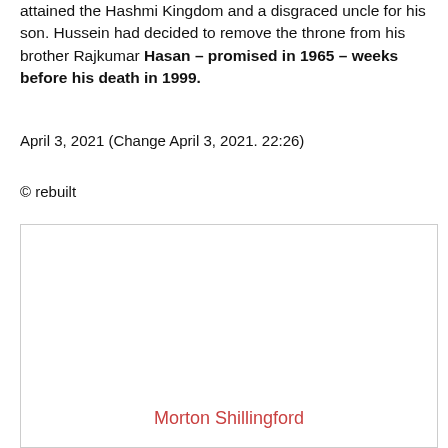attained the Hashmi Kingdom and a disgraced uncle for his son. Hussein had decided to remove the throne from his brother Rajkumar Hasan – promised in 1965 – weeks before his death in 1999.
April 3, 2021 (Change April 3, 2021. 22:26)
© rebuilt
[Figure (other): Empty box with name 'Morton Shillingford' displayed in red at the bottom center]